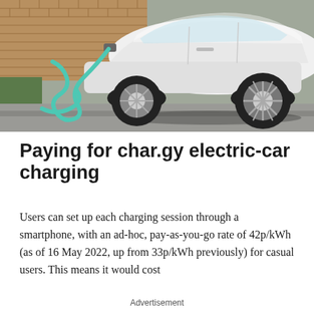[Figure (photo): White electric car being charged with a teal/turquoise charging cable, parked in front of a brick wall on a residential street]
Paying for char.gy electric-car charging
Users can set up each charging session through a smartphone, with an ad-hoc, pay-as-you-go rate of 42p/kWh (as of 16 May 2022, up from 33p/kWh previously) for casual users. This means it would cost
Advertisement